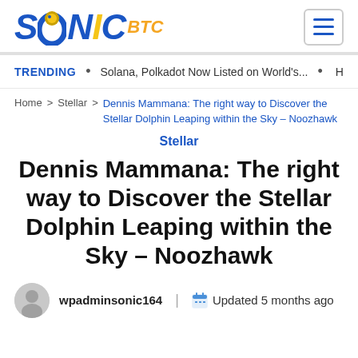[Figure (logo): Sonic BTC website logo with stylized blue italic text and orange BTC label]
TRENDING • Solana, Polkadot Now Listed on World's... •
Home > Stellar > Dennis Mammana: The right way to Discover the Stellar Dolphin Leaping within the Sky – Noozhawk
Stellar
Dennis Mammana: The right way to Discover the Stellar Dolphin Leaping within the Sky – Noozhawk
wpadminsonic164 | Updated 5 months ago